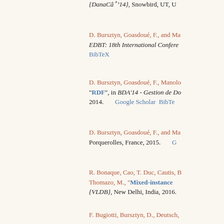{DanaCâ14}, Snowbird, UT, U...
D. Bursztyn, Goasdoué, F., and M... EDBT: 18th International Confere... BibTeX
D. Bursztyn, Goasdoué, F., Manole... "RDF", in BDA'14 - Gestion de Do... 2014. Google Scholar BibTeX
D. Bursztyn, Goasdoué, F., and Ma... Porquerolles, France, 2015. G...
R. Bonaque, Cao, T. Duc, Cautis, B... Thomazo, M., "Mixed-instance... {VLDB}, New Delhi, India, 2016.
F. Bugiotti, Bursztyn, D., Deutsch,... "Stores", in Conference on Innova... Scholar BibTeX
B. Djahandideh, Goasdoué, F., Ka... "Cliques at Work", in 30e journé...